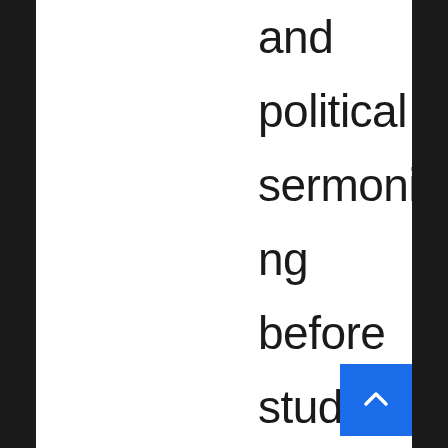and political sermonizing before students, as this grad instructor did, knowing they are overall impervious to accountab